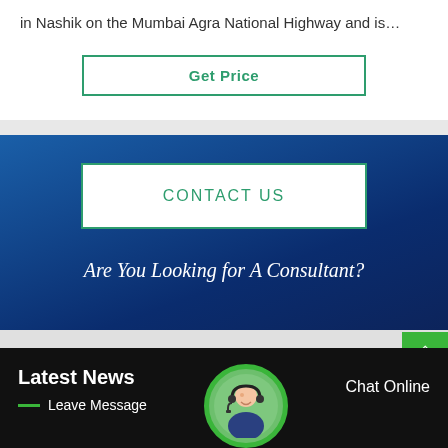in Nashik on the Mumbai Agra National Highway and is…
Get Price
CONTACT US
Are You Looking for A Consultant?
Latest News
Leave Message
[Figure (photo): Customer support avatar - woman with headset in circular green-bordered frame]
Chat Online